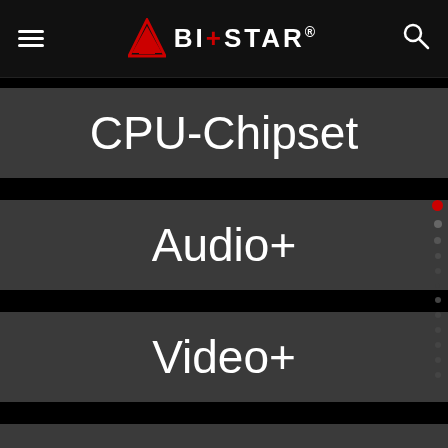BIOSTAR
CPU-Chipset
Audio+
Video+
Speed+